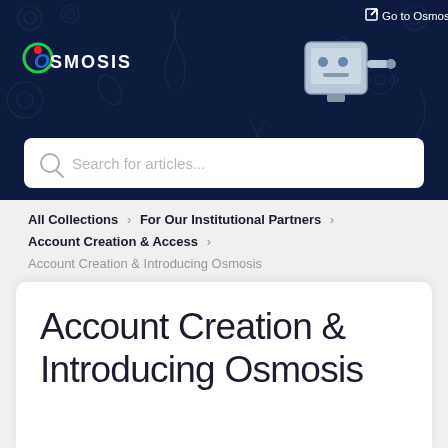Go to Osmosis
[Figure (logo): Osmosis logo with circular green and red icon on dark navy banner background with faint medical/science icons]
Search for articles...
All Collections > For Our Institutional Partners > Account Creation & Access >
Account Creation & Introducing Osmosis
Account Creation & Introducing Osmosis